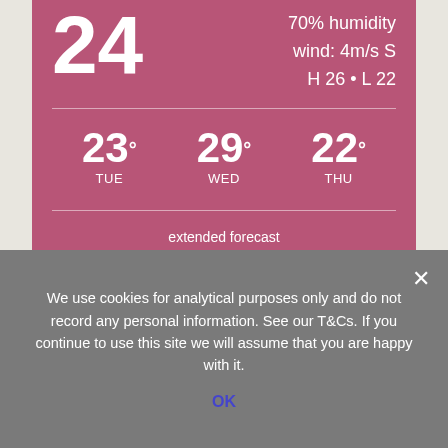[Figure (infographic): Weather widget card showing current temperature 24°, humidity 70%, wind 4m/s S, H 26 • L 22, and 3-day forecast: TUE 23°, WED 29°, THU 22°, with extended forecast link and OpenWeatherMap credit.]
We use cookies for analytical purposes only and do not record any personal information. See our T&Cs. If you continue to use this site we will assume that you are happy with it.
OK